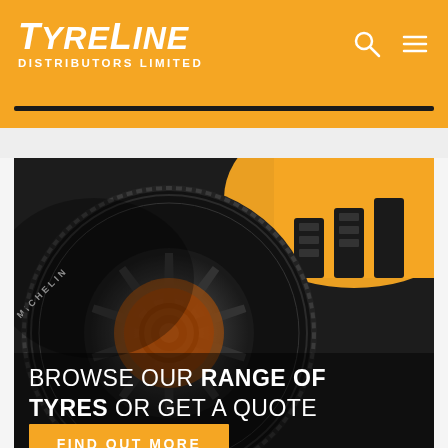TyreLine Distributors Limited
[Figure (screenshot): Website screenshot showing TyreLine Distributors Limited header with orange background, logo in italic white text, search and hamburger menu icons. Below is a close-up photo of a Michelin tyre on a black alloy wheel with a yellow sports car body. Overlay text reads: BROWSE OUR RANGE OF TYRES OR GET A QUOTE with a FIND OUT MORE button.]
BROWSE OUR RANGE OF TYRES OR GET A QUOTE
FIND OUT MORE